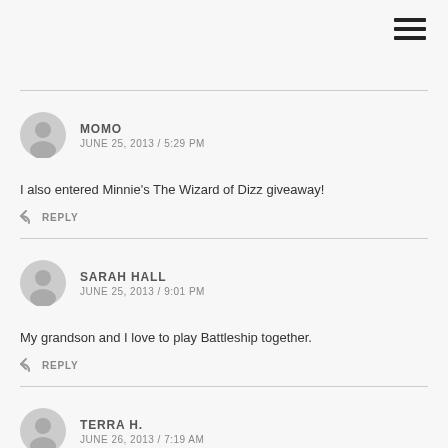[Figure (other): Hamburger menu icon (three horizontal bars) in top-right corner]
MOMO
JUNE 25, 2013 / 5:29 PM
I also entered Minnie’s The Wizard of Dizz giveaway!
REPLY
SARAH HALL
JUNE 25, 2013 / 9:01 PM
My grandson and I love to play Battleship together.
REPLY
TERRA H.
JUNE 26, 2013 / 7:19 AM